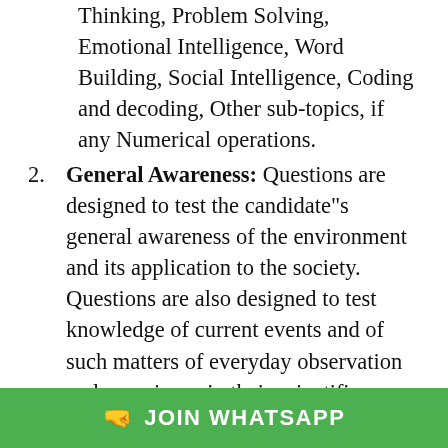Thinking, Problem Solving, Emotional Intelligence, Word Building, Social Intelligence, Coding and decoding, Other sub-topics, if any Numerical operations.
2. General Awareness: Questions are designed to test the candidate"s general awareness of the environment and its application to the society. Questions are also designed to test knowledge of current events and of such matters of everyday observation and experience in their scientific aspect as may be expected of an educated person. The test will also include questions relating to India and its neighbouring countries especially pertaining to History, Culture, Geography, Economic Scene, General polity and scientific research.
[Figure (other): Green WhatsApp join banner at bottom of page with emoji hand pointing right and text JOIN WHATSAPP in white bold capitals]